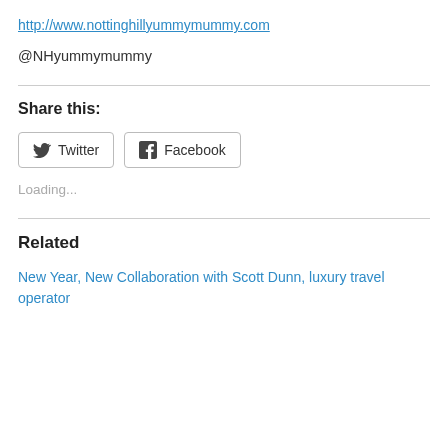http://www.nottinghillyummymummy.com
@NHyummymummy
Share this:
Twitter  Facebook
Loading...
Related
New Year, New Collaboration with Scott Dunn, luxury travel operator